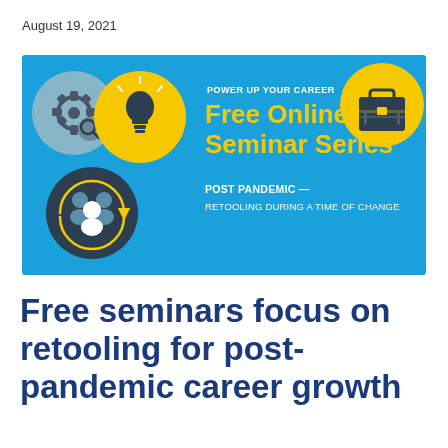August 19, 2021
[Figure (infographic): Power Up Your Career: Free Online Seminar Series. Post Pandemic — Retooling During a Time of Change. Blue banner with icons: gear, lightbulb, people/team, briefcase on yellow circles.]
Free seminars focus on retooling for post-pandemic career growth